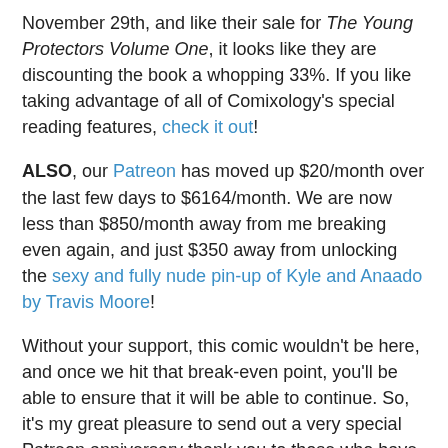November 29th, and like their sale for The Young Protectors Volume One, it looks like they are discounting the book a whopping 33%. If you like taking advantage of all of Comixology's special reading features, check it out!
ALSO, our Patreon has moved up $20/month over the last few days to $6164/month. We are now less than $850/month away from me breaking even again, and just $350 away from unlocking the sexy and fully nude pin-up of Kyle and Anaado by Travis Moore!
Without your support, this comic wouldn't be here, and once we hit that break-even point, you'll be able to ensure that it will be able to continue. So, it's my great pleasure to send out a very special Patreon anniversary thank you to those who have been my Patrons for 12 months as of this week (Nov 18-24)!
Patrons for 12 months as of this week: